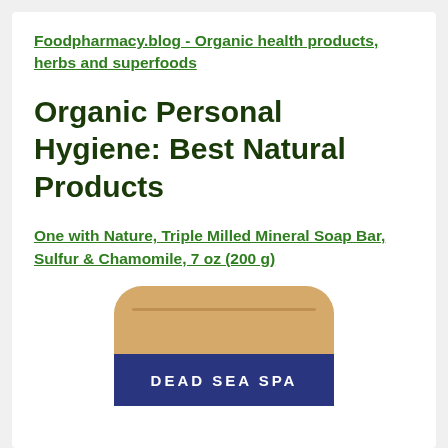Foodpharmacy.blog - Organic health products, herbs and superfoods
Organic Personal Hygiene: Best Natural Products
One with Nature, Triple Milled Mineral Soap Bar, Sulfur & Chamomile, 7 oz (200 g)
[Figure (photo): Photo of a bar of soap with a tan/beige rounded top and a dark navy blue band at the bottom reading 'DEAD SEA SPA']